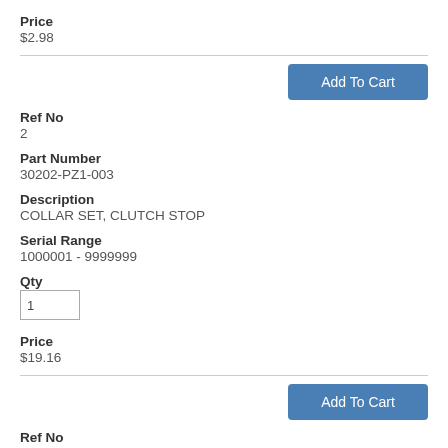Price
$2.98
Add To Cart
Ref No
2
Part Number
30202-PZ1-003
Description
COLLAR SET, CLUTCH STOP
Serial Range
1000001 - 9999999
Qty
1
Price
$19.16
Add To Cart
Ref No